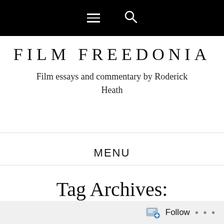≡ 🔍
FILM FREEDONIA
Film essays and commentary by Roderick Heath
MENU
Tag Archives:
Anny Ondráková
Follow ...